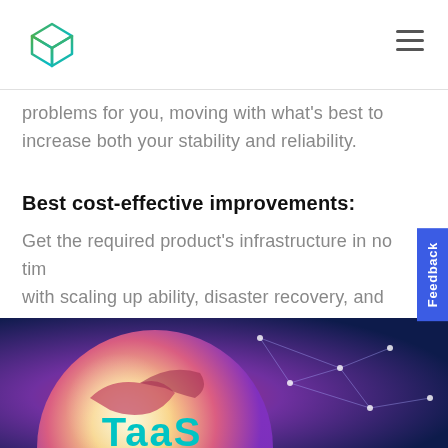[Figure (logo): Stackbox/cube logo in green-to-teal gradient lines]
problems for you, moving with what's best to increase both your stability and reliability.
Best cost-effective improvements:
Get the required product's infrastructure in no time with scaling up ability, disaster recovery, and high availability. All at the level of start-up expenses.
[Figure (illustration): Glowing globe with network connections on dark blue/purple gradient background with 'TaaS' text label at the bottom]